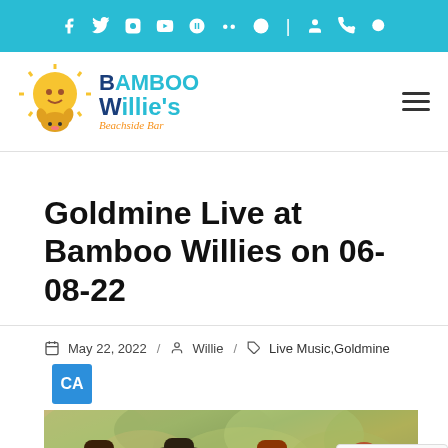Social media icons bar: Facebook, Twitter, Instagram, YouTube, Yelp, TripAdvisor, globe, divider, account, phone, search
[Figure (logo): Bamboo Willie's Beachside Bar logo with cartoon sun character and dog]
Goldmine Live at Bamboo Willies on 06-08-22
May 22, 2022 / Willie / Live Music,Goldmine
[Figure (photo): Four young people (band members) smiling outdoors with trees in background, one wearing a hat, one wearing a cap, one with glasses, one with a headband]